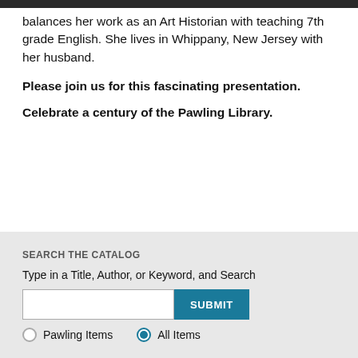balances her work as an Art Historian with teaching 7th grade English. She lives in Whippany, New Jersey with her husband.
Please join us for this fascinating presentation.
Celebrate a century of the Pawling Library.
SEARCH THE CATALOG
Type in a Title, Author, or Keyword, and Search